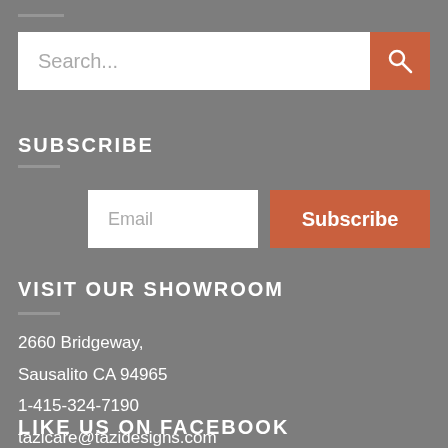Search...
SUBSCRIBE
Email
Subscribe
VISIT OUR SHOWROOM
2660 Bridgeway,
Sausalito CA 94965
1-415-324-7190
tazicare@tazidesigns.com
LIKE US ON FACEBOOK